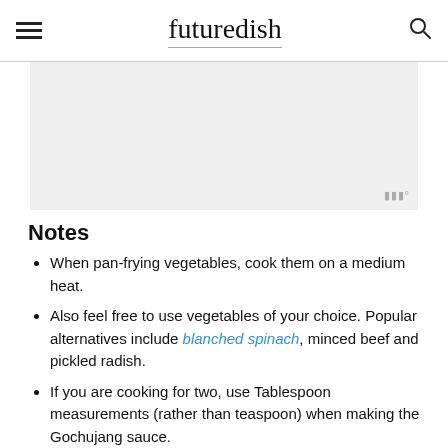futuredish
[Figure (other): Advertisement placeholder box with ad badge icon in bottom right corner]
Notes
When pan-frying vegetables, cook them on a medium heat.
Also feel free to use vegetables of your choice. Popular alternatives include blanched spinach, minced beef and pickled radish.
If you are cooking for two, use Tablespoon measurements (rather than teaspoon) when making the Gochujang sauce.